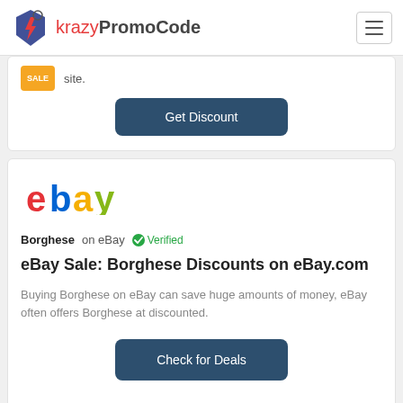krazyPromoCode
[Figure (logo): KrazyPromoCode logo with lightning bolt icon and text 'krazyPromoCode']
site.
Get Discount
[Figure (logo): eBay logo in colorful letters]
Borghese on eBay  ✓ Verified
eBay Sale: Borghese Discounts on eBay.com
Buying Borghese on eBay can save huge amounts of money, eBay often offers Borghese at discounted.
Check for Deals
50% off Storewide